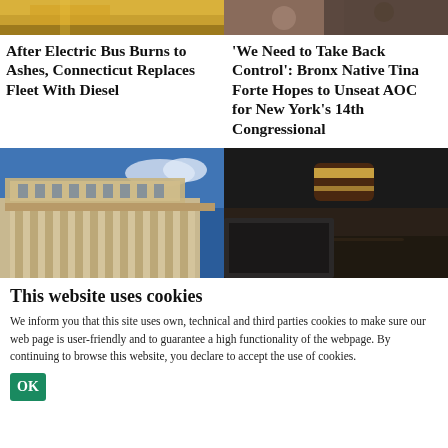[Figure (photo): Top portion of electric bus image, yellow/orange tones]
After Electric Bus Burns to Ashes, Connecticut Replaces Fleet With Diesel
[Figure (photo): Top portion of image showing people, dark tones]
'We Need to Take Back Control': Bronx Native Tina Forte Hopes to Unseat AOC for New York’s 14th Congressional
[Figure (photo): Government building with columns under blue sky]
[Figure (photo): Judge's gavel on dark surface]
This website uses cookies
We inform you that this site uses own, technical and third parties cookies to make sure our web page is user-friendly and to guarantee a high functionality of the webpage. By continuing to browse this website, you declare to accept the use of cookies.
OK